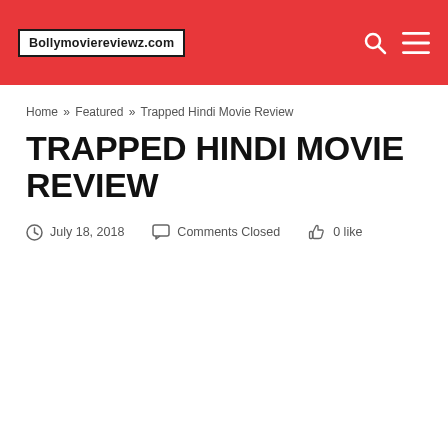Bollymoviereviewz.com
Home » Featured » Trapped Hindi Movie Review
TRAPPED HINDI MOVIE REVIEW
July 18, 2018   Comments Closed   0 like